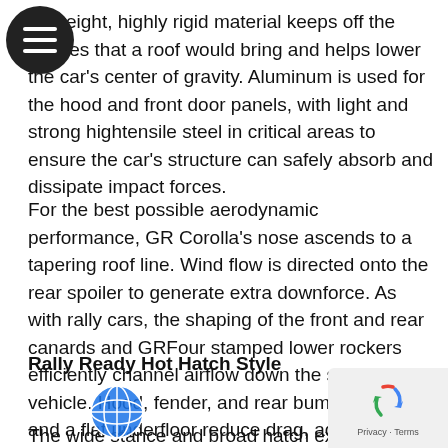[Figure (illustration): Black circle with three horizontal white lines — hamburger/menu icon]
lightweight, highly rigid material keeps off the ounces that a roof would bring and helps lower the car's center of gravity. Aluminum is used for the hood and front door panels, with light and strong hightensile steel in critical areas to ensure the car's structure can safely absorb and dissipate impact forces.
For the best possible aerodynamic performance, GR Corolla's nose ascends to a tapering roof line. Wind flow is directed onto the rear spoiler to generate extra downforce. As with rally cars, the shaping of the front and rear canards and GRFour stamped lower rockers efficiently channel airflow down the sides of the vehicle. Hood, fender, and rear bumper ducts, and a flat underfloor reduce drag, add downforce, and improve stability.
Rally Ready Hot Hatch Style
[Figure (illustration): Blue globe/world icon]
The wide stance and broad hatch exterior design of GR
[Figure (illustration): Google reCAPTCHA privacy badge with recycling arrow icon, Privacy · Terms text]